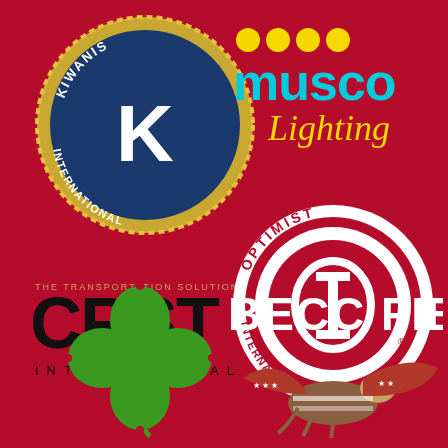[Figure (logo): Kiwanis International circular badge logo with gold border, blue background, and white 'K' emblem]
[Figure (logo): Musco Lighting logo with yellow dots on top and cyan/yellow text 'musco' with 'Lighting' in yellow cursive below]
[Figure (logo): CRST International logo with 'THE TRANSPORTATION SOLUTION' tagline above and 'INTERNATIONAL' below in spaced letters]
[Figure (logo): Optimist International circular logo in white with 'OPTIMIST' at top, 'INTERNATIONAL' at bottom, and stylized OI emblem in center]
[Figure (logo): Green four-leaf clover icon]
[Figure (logo): BECC FIELD logo with American flag eagle below bold white text]